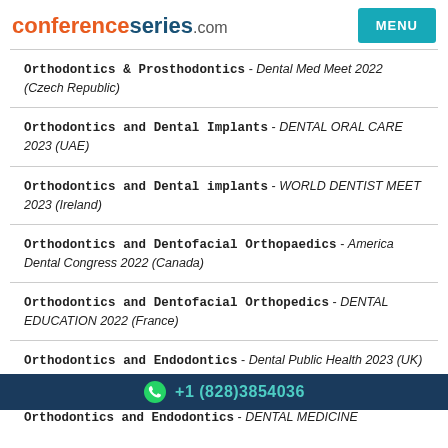conferenceseries.com  MENU
Orthodontics & Prosthodontics - Dental Med Meet 2022 (Czech Republic)
Orthodontics and Dental Implants - DENTAL ORAL CARE 2023 (UAE)
Orthodontics and Dental implants - WORLD DENTIST MEET 2023 (Ireland)
Orthodontics and Dentofacial Orthopaedics - America Dental Congress 2022 (Canada)
Orthodontics and Dentofacial Orthopedics - DENTAL EDUCATION 2022 (France)
Orthodontics and Endodontics - Dental Public Health 2023 (UK)
+1 (828)3854036
Orthodontics and Endodontics - DENTAL MEDICINE